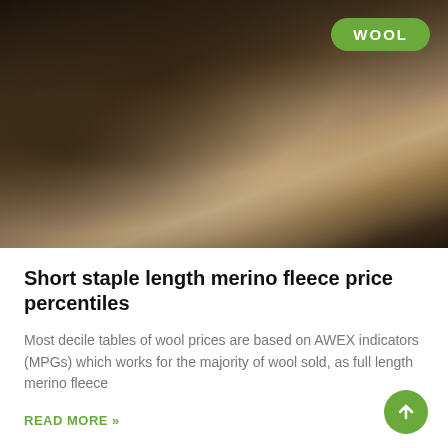[Figure (photo): Sheep shearers working in a barn, bending over freshly shorn wool fleece on a shearing floor. Dark rustic barn interior with wool piles in the foreground. WOOL badge overlay in top right corner.]
Short staple length merino fleece price percentiles
Most decile tables of wool prices are based on AWEX indicators (MPGs) which works for the majority of wool sold, as full length merino fleece
READ MORE »